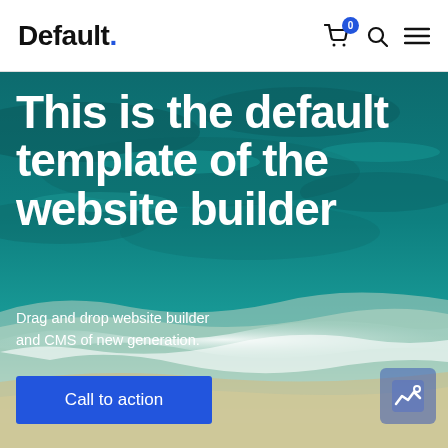Default. [logo] with cart (0), search, menu icons
This is the default template of the website builder
Drag and drop website builder and CMS of new generation.
Call to action
[Figure (photo): Aerial ocean/beach photo with teal waves and foam shoreline as hero background]